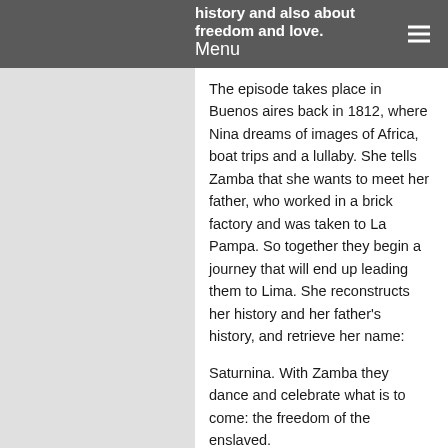history and also about freedom and love. Menu
The episode takes place in Buenos aires back in 1812, where Nina dreams of images of Africa, boat trips and a lullaby. She tells Zamba that she wants to meet her father, who worked in a brick factory and was taken to La Pampa. So together they begin a journey that will end up leading them to Lima. She reconstructs her history and her father's history, and retrieve her name:
Saturnina. With Zamba they dance and celebrate what is to come: the freedom of the enslaved.
Zamba y Nina  is part of the emblematic and award-winning series 'La asombrosa excursión de Zamba', made by the production company El Perro en la Luna, which tells the adventures of Zamba, a boy who lives in the city of Clorinda, in the Argentine province of Formosa. In each episode of the series, the mission which has...